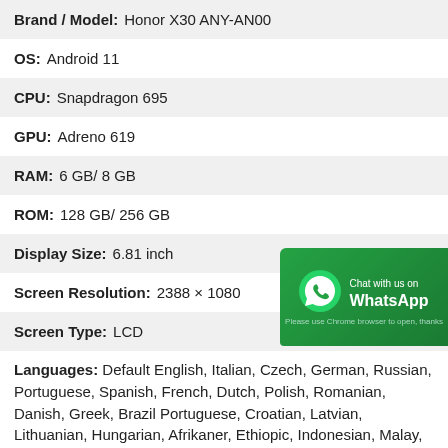Brand / Model: Honor X30 ANY-AN00
OS: Android 11
CPU: Snapdragon 695
GPU: Adreno 619
RAM: 6 GB/ 8 GB
ROM: 128 GB/ 256 GB
Display Size: 6.81 inch
Screen Resolution: 2388 × 1080
Screen Type: LCD
[Figure (infographic): WhatsApp chat badge with green background, phone icon, and text 'Chat with us on WhatsApp'. Below: 'Please use Chrome browser to open, thanks']
Languages: Default English, Italian, Czech, German, Russian, Portuguese, Spanish, French, Dutch, Polish, Romanian, Danish, Greek, Brazil Portuguese, Croatian, Latvian, Lithuanian, Hungarian, Afrikaner, Ethiopic, Indonesian, Malay, Catalan, Norwegian, Bosnian, Slovak,